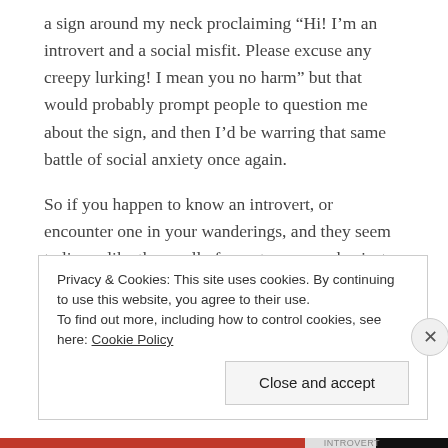a sign around my neck proclaiming “Hi! I’m an introvert and a social misfit. Please excuse any creepy lurking! I mean you no harm” but that would probably prompt people to question me about the sign, and then I’d be warring that same battle of social anxiety once again.
So if you happen to know an introvert, or encounter one in your wanderings, and they seem to linger like the smell of sweaty gym socks, just remember that they’re not trying to be creepy (most of them anyway), it’s just that their social radar is a little broken.
Privacy & Cookies: This site uses cookies. By continuing to use this website, you agree to their use.
To find out more, including how to control cookies, see here: Cookie Policy
Close and accept